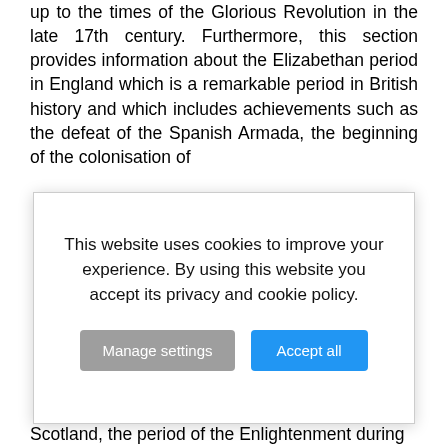up to the times of the Glorious Revolution in the late 17th century. Furthermore, this section provides information about the Elizabethan period in England which is a remarkable period in British history and which includes achievements such as the defeat of the Spanish Armada, the beginning of the colonisation of
[Figure (screenshot): Cookie consent modal overlay with message 'This website uses cookies to improve your experience. By using this website you accept its privacy and cookie policy.' and two buttons: 'Manage settings' (grey) and 'Accept all' (blue)]
Scotland, the period of the Enlightenment during